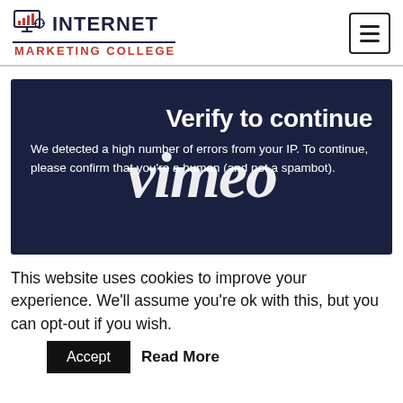[Figure (logo): Internet Marketing College logo with bar chart icon on monitor, dark navy INTERNET text and red MARKETING COLLEGE text below]
[Figure (screenshot): Vimeo verification overlay on dark navy background showing 'Verify to continue' heading and body text: 'We detected a high number of errors from your IP. To continue, please confirm that you’re a human (and not a spambot).' with large white vimeo watermark text overlaid]
This website uses cookies to improve your experience. We’ll assume you’re ok with this, but you can opt-out if you wish.
Accept  Read More